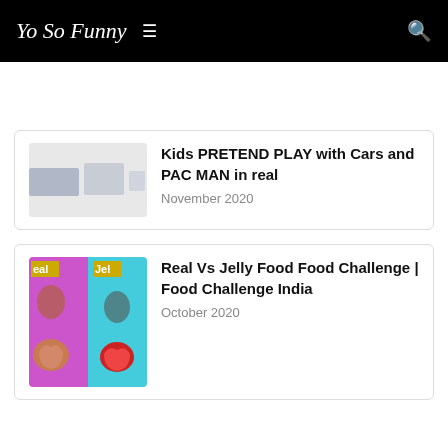Yo So Funny
[Figure (screenshot): Blurred thumbnail image for Kids PRETEND PLAY with Cars and PAC MAN in real]
Kids PRETEND PLAY with Cars and PAC MAN in real
November 2020
[Figure (screenshot): Thumbnail for Real Vs Jelly Food Food Challenge | Food Challenge India, split image with pink and teal background, showing 'eal' and 'Jel' labels in yellow, with brain-like food items]
Real Vs Jelly Food Food Challenge | Food Challenge India
October 2020